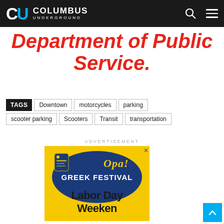Columbus Underground
Department of Public Service.
TAGS: Downtown | motorcycles | parking | scooter parking | Scooters | Transit | transportation
ADVERTISEMENT
[Figure (illustration): Greek Festival advertisement - Opa! Greek Festival, Labor Day Weekend. Yellow and blue banner design with figure illustration.]